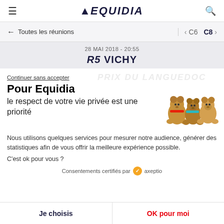≡  EQUIDIA  🔍
← Toutes les réunions   < C6  C8 >
28 MAI 2018 - 20:55
R5 VICHY
Continuer sans accepter
Pour Equidia
le respect de votre vie privée est une priorité
[Figure (illustration): Three cartoon bear figures with colorful collars (red, teal, none)]
Nous utilisons quelques services pour mesurer notre audience, générer des statistiques afin de vous offrir la meilleure expérience possible.
C'est ok pour vous ?
Consentements certifiés par axeptio
Je choisis
OK pour moi